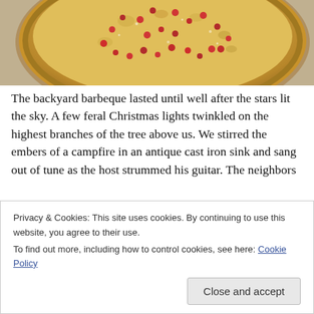[Figure (photo): Close-up overhead photo of a round pie with crimped crust edges, topped with red berries or cranberries and sugar dusting, on a light surface]
The backyard barbeque lasted until well after the stars lit the sky. A few feral Christmas lights twinkled on the highest branches of the tree above us. We stirred the embers of a campfire in an antique cast iron sink and sang out of tune as the host strummed his guitar. The neighbors
Privacy & Cookies: This site uses cookies. By continuing to use this website, you agree to their use.
To find out more, including how to control cookies, see here: Cookie Policy
Close and accept